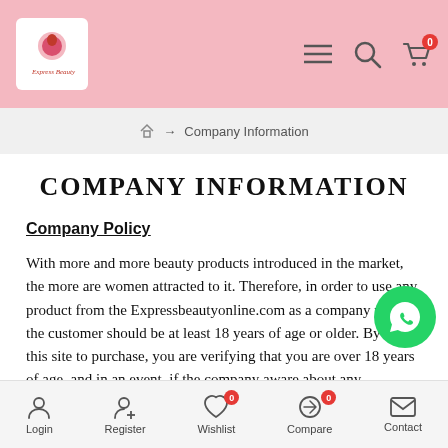Express Beauty — navigation bar with logo, menu, search, cart icons
Home → Company Information
COMPANY INFORMATION
Company Policy
With more and more beauty products introduced in the market, the more are women attracted to it. Therefore, in order to use any product from the Expressbeautyonline.com as a company policy, the customer should be at least 18 years of age or older. By using this site to purchase, you are verifying that you are over 18 years of age, and in an event, if the company aware about any disconnects, the registration would
Login   Register   Wishlist 0   Compare 0   Contact